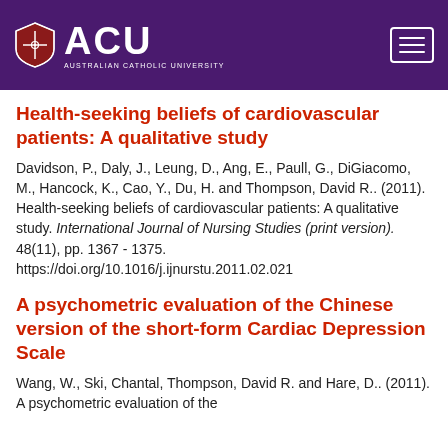[Figure (logo): ACU (Australian Catholic University) logo in purple header with hamburger menu icon]
Health-seeking beliefs of cardiovascular patients: A qualitative study
Davidson, P., Daly, J., Leung, D., Ang, E., Paull, G., DiGiacomo, M., Hancock, K., Cao, Y., Du, H. and Thompson, David R.. (2011). Health-seeking beliefs of cardiovascular patients: A qualitative study. International Journal of Nursing Studies (print version). 48(11), pp. 1367 - 1375. https://doi.org/10.1016/j.ijnurstu.2011.02.021
A psychometric evaluation of the Chinese version of the short-form Cardiac Depression Scale
Wang, W., Ski, Chantal, Thompson, David R. and Hare, D.. (2011). A psychometric evaluation of the